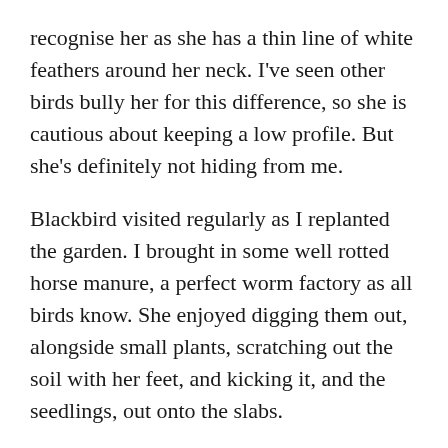recognise her as she has a thin line of white feathers around her neck. I've seen other birds bully her for this difference, so she is cautious about keeping a low profile. But she's definitely not hiding from me.
Blackbird visited regularly as I replanted the garden. I brought in some well rotted horse manure, a perfect worm factory as all birds know. She enjoyed digging them out, alongside small plants, scratching out the soil with her feet, and kicking it, and the seedlings, out onto the slabs.
Her sleuthing skills developed well too. Every morning she listened at my window, and when she heard me visit the bathroom she dropped down onto the wall outside the window and called – 'tut tut tut'. I replied from the window, looking down at her, "tut tut tut, good morning...